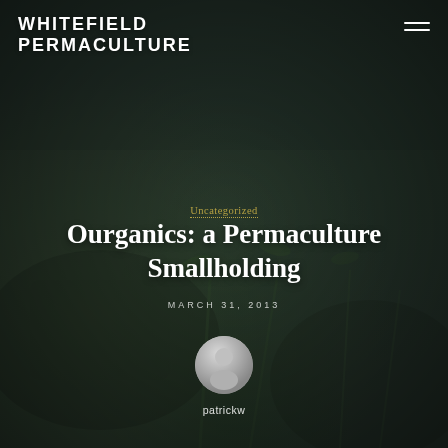WHITEFIELD PERMACULTURE
Uncategorized
Ourganics: a Permaculture Smallholding
MARCH 31, 2013
[Figure (illustration): Generic user avatar circle icon in gray tones]
patrickw